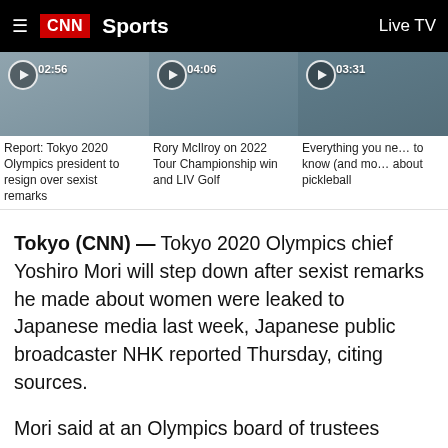CNN Sports — Live TV
[Figure (screenshot): Video thumbnail 1: duration 02:56, news clip thumbnail with play button]
Report: Tokyo 2020 Olympics president to resign over sexist remarks
[Figure (screenshot): Video thumbnail 2: duration 04:06, news clip thumbnail with play button]
Rory McIlroy on 2022 Tour Championship win and LIV Golf
[Figure (screenshot): Video thumbnail 3: duration 03:31, news clip thumbnail with play button]
Everything you need to know (and more) about pickleball
Tokyo (CNN) — Tokyo 2020 Olympics chief Yoshiro Mori will step down after sexist remarks he made about women were leaked to Japanese media last week, Japanese public broadcaster NHK reported Thursday, citing sources.
Mori said at an Olympics board of trustees meeting last week that "board meetings with lots of women take longer" because "women are competitive -- if